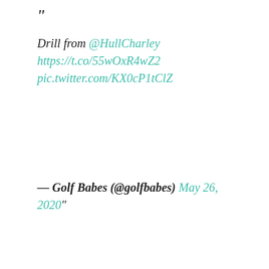“
Drill from @HullCharley https://t.co/55wOxR4wZ2 pic.twitter.com/KX0cP1tClZ
— Golf Babes (@golfbabes) May 26, 2020”
[Figure (infographic): Tweet and Share social media buttons with a count of 3]
LABELS: CHARLEY HULL   SHARE